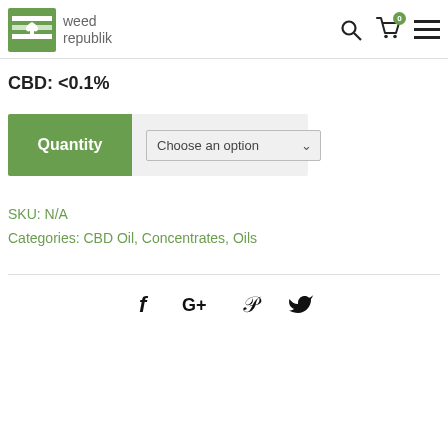weed republik
CBD: <0.1%
Quantity — Choose an option
SKU: N/A
Categories: CBD Oil, Concentrates, Oils
[Figure (other): Social share icons: Facebook, Google+, Pinterest, Twitter]